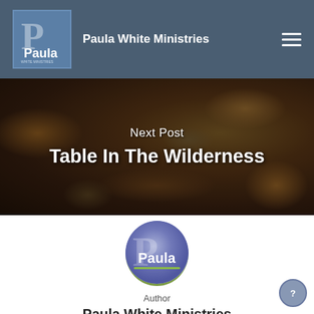Paula White Ministries
[Figure (other): Hero image of food/bread on a table with dark overlay, showing 'Next Post' label and title 'Table In The Wilderness']
Next Post
Table In The Wilderness
[Figure (logo): Paula White Ministries circular logo — blue-purple gradient with 'Paula' text and decorative P]
Author
Paula White Ministries